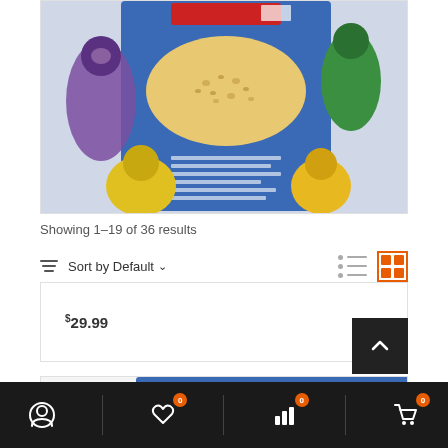[Figure (photo): Bird seed product bag with parrots on blue packaging, partially cropped at top]
Showing 1-19 of 36 results
Sort by Default
$29.99
[Figure (photo): Vetafarm brand bird food product bag with parrots on blue packaging, partially visible at bottom of page]
Bottom navigation bar with account, wishlist (0), stats, and cart (0) icons